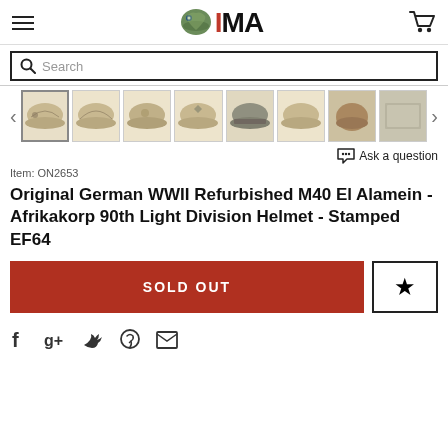[Figure (logo): IMA logo with military helmet graphic and stylized text]
[Figure (screenshot): Search bar with magnifying glass icon]
[Figure (photo): Thumbnail strip showing 8 views of a WWII German M40 helmet with navigation arrows]
Ask a question
Item: ON2653
Original German WWII Refurbished M40 El Alamein - Afrikakorp 90th Light Division Helmet - Stamped EF64
[Figure (other): SOLD OUT button (red) and wishlist star button]
[Figure (other): Social sharing icons: Facebook, Google+, Twitter, Pinterest, Email]